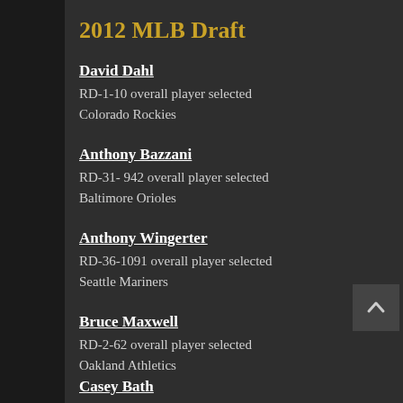2012 MLB Draft
David Dahl
RD-1-10 overall player selected
Colorado Rockies
Anthony Bazzani
RD-31- 942 overall player selected
Baltimore Orioles
Anthony Wingerter
RD-36-1091 overall player selected
Seattle Mariners
Bruce Maxwell
RD-2-62 overall player selected
Oakland Athletics
Casey Bath...